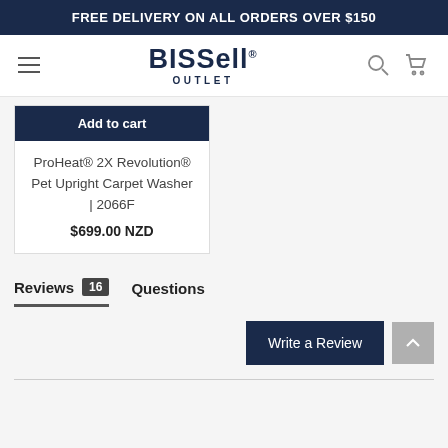FREE DELIVERY ON ALL ORDERS OVER $150
[Figure (logo): BISSELL OUTLET logo with hamburger menu, search icon, and cart icon in navigation bar]
Add to cart
ProHeat® 2X Revolution® Pet Upright Carpet Washer | 2066F
$699.00 NZD
Reviews 16   Questions
Write a Review